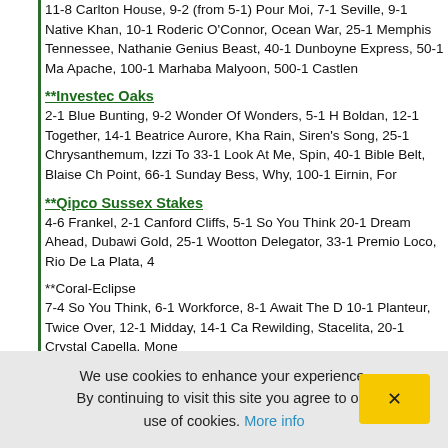11-8 Carlton House, 9-2 (from 5-1) Pour Moi, 7-1 Seville, 9-1 Native Khan, 10-1 Roderic O'Connor, Ocean War, 25-1 Memphis Tennessee, Nathaniel, Genius Beast, 40-1 Dunboyne Express, 50-1 Apache, 100-1 Marhaba Malyoon, 500-1 Castlen
**Investec Oaks
2-1 Blue Bunting, 9-2 Wonder Of Wonders, 5-1 Boldan, 12-1 Together, 14-1 Beatrice Aurore, Kha Rain, Siren's Song, 25-1 Chrysanthemum, Izzi To 33-1 Look At Me, Spin, 40-1 Bible Belt, Blaise Ch Point, 66-1 Sunday Bess, Why, 100-1 Eirnin, For
**Qipco Sussex Stakes
4-6 Frankel, 2-1 Canford Cliffs, 5-1 So You Think, 20-1 Dream Ahead, Dubawi Gold, 25-1 Wootton Delegator, 33-1 Premio Loco, Rio De La Plata, 4
**Coral-Eclipse
7-4 So You Think, 6-1 Workforce, 8-1 Await The 10-1 Planteur, Twice Over, 12-1 Midday, 14-1 Ca Rewilding, Stacelita, 20-1 Crystal Capella, Mone
**King's Stand Stakes
8-1 Sole Power, Star Witness, 10-1 Lady Of The Zoffany, 16-1 Bridgetown, Kingsgate Native, Ove Be The One, Bewitched, Borderlescott, Swiss Di
We use cookies to enhance your experience. By continuing to visit this site you agree to our use of cookies. More info